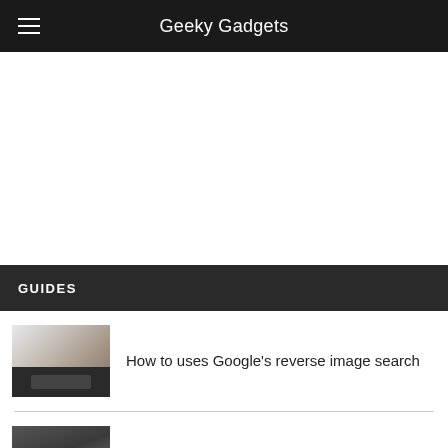Geeky Gadgets
[Figure (other): Advertisement / blank white area]
GUIDES
How to uses Google's reverse image search
How to block text messages on iPhone